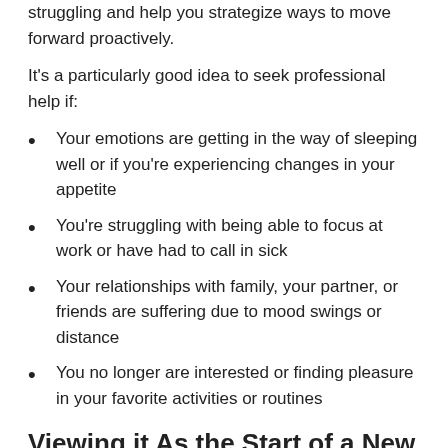struggling and help you strategize ways to move forward proactively.
It's a particularly good idea to seek professional help if:
Your emotions are getting in the way of sleeping well or if you're experiencing changes in your appetite
You're struggling with being able to focus at work or have had to call in sick
Your relationships with family, your partner, or friends are suffering due to mood swings or distance
You no longer are interested or finding pleasure in your favorite activities or routines
Viewing it As the Start of a New Chapter
While it's known as the midlife crisis for a reason, there